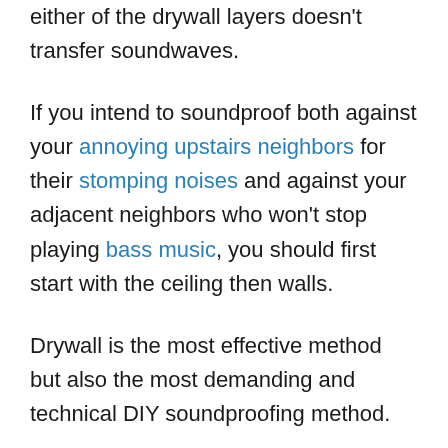either of the drywall layers doesn't transfer soundwaves.
If you intend to soundproof both against your annoying upstairs neighbors for their stomping noises and against your adjacent neighbors who won't stop playing bass music, you should first start with the ceiling then walls.
Drywall is the most effective method but also the most demanding and technical DIY soundproofing method.